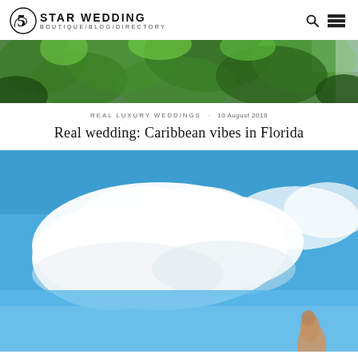5 STAR WEDDING BOUTIQUE/BLOG/DIRECTORY
[Figure (photo): Lush green tropical foliage/leaves viewed from below against a bright sky, banner/hero image at top of article]
REAL LUXURY WEDDINGS · 10 August 2018
Real wedding: Caribbean vibes in Florida
[Figure (photo): Blue sky with large white clouds, a person's arm raised holding something, possibly outdoors at a wedding venue in Florida]